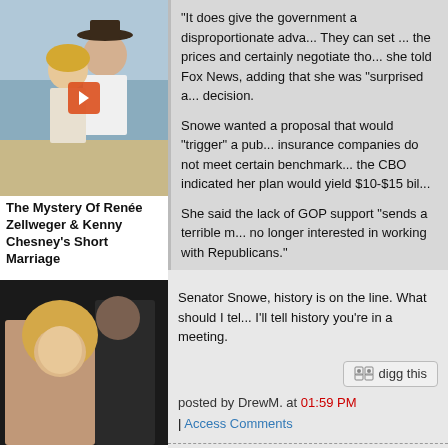[Figure (photo): Couple photo with play button overlay - man in cowboy hat and woman on beach]
The Mystery Of Renée Zellweger & Kenny Chesney's Short Marriage
"It does give the government a disproportionate adva... They can set ... the prices and certainly negotiate tho... she told Fox News, adding that she was "surprised a... decision.
Snowe wanted a proposal that would "trigger" a pub... insurance companies do not meet certain benchmark... the CBO indicated her plan would yield $10-$15 bil...
She said the lack of GOP support "sends a terrible m... no longer interested in working with Republicans."
Senator Snowe, history is on the line. What should I tel... I'll tell history you're in a meeting.
posted by DrewM. at 01:59 PM
| Access Comments
[Figure (photo): Blonde woman with dark-haired man, celebrity photo]